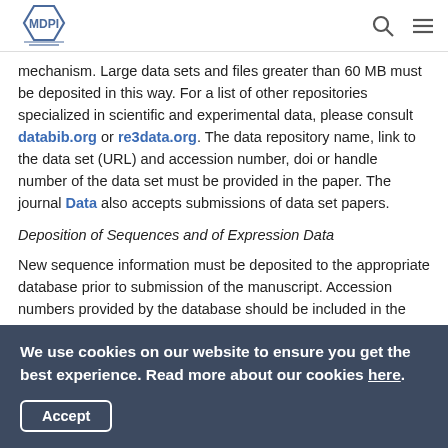MDPI [logo] [search icon] [menu icon]
mechanism. Large data sets and files greater than 60 MB must be deposited in this way. For a list of other repositories specialized in scientific and experimental data, please consult databib.org or re3data.org. The data repository name, link to the data set (URL) and accession number, doi or handle number of the data set must be provided in the paper. The journal Data also accepts submissions of data set papers.
Deposition of Sequences and of Expression Data
New sequence information must be deposited to the appropriate database prior to submission of the manuscript. Accession numbers provided by the database should be included in the submitted
We use cookies on our website to ensure you get the best experience. Read more about our cookies here. [Accept button]